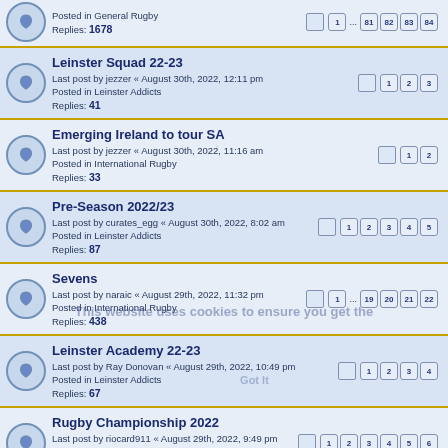Posted in General Rugby
Replies: 1678
Pages: 1 ... 81 82 83 84
Leinster Squad 22-23
Last post by jezzer « August 30th, 2022, 12:11 pm
Posted in Leinster Addicts
Replies: 41
Pages: 1 2 3
Emerging Ireland to tour SA
Last post by jezzer « August 30th, 2022, 11:16 am
Posted in International Rugby
Replies: 33
Pages: 1 2
Pre-Season 2022/23
Last post by curates_egg « August 30th, 2022, 8:02 am
Posted in Leinster Addicts
Replies: 87
Pages: 1 2 3 4 5
Sevens
Last post by naraic « August 29th, 2022, 11:32 pm
Posted in International Rugby
Replies: 438
Pages: 1 ... 19 20 21 22
Leinster Academy 22-23
Last post by Ray Donovan « August 29th, 2022, 10:49 pm
Posted in Leinster Addicts
Replies: 67
Pages: 1 2 3 4
Rugby Championship 2022
Last post by riocard911 « August 29th, 2022, 9:49 pm
Posted in International Rugby
Replies: 104
Pages: 1 2 3 4 5 6